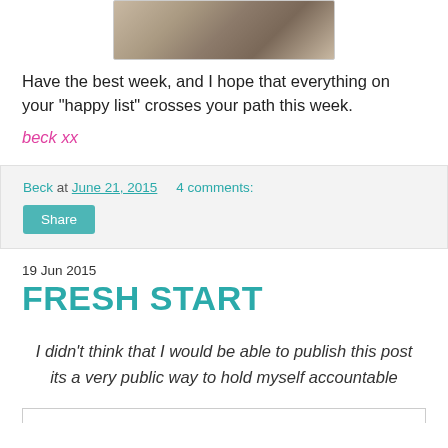[Figure (photo): Cropped photo of an animal or object, partially visible at top of page, brownish and silver tones]
Have the best week, and I hope that everything on your "happy list" crosses your path this week.
beck xx
Beck at June 21, 2015   4 comments:
Share
19 Jun 2015
FRESH START
I didn't think that I would be able to publish this post its a very public way to hold myself accountable
[Figure (photo): Bottom of page: edge of an image, cut off]